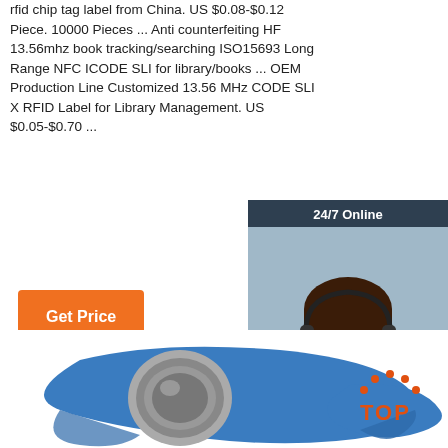rfid chip tag label from China. US $0.08-$0.12 Piece. 10000 Pieces ... Anti counterfeiting HF 13.56mhz book tracking/searching ISO15693 Long Range NFC ICODE SLI for library/books ... OEM Production Line Customized 13.56 MHz CODE SLI X RFID Label for Library Management. US $0.05-$0.70 ...
[Figure (infographic): Customer service chat widget with '24/7 Online' header, photo of smiling woman with headset, 'Click here for free chat!' text, and orange QUOTATION button]
[Figure (photo): Blue RFID wristband with embedded silver coin chip, photographed on white background]
[Figure (logo): TOP badge logo with orange dots arranged in arc above the word TOP in orange]